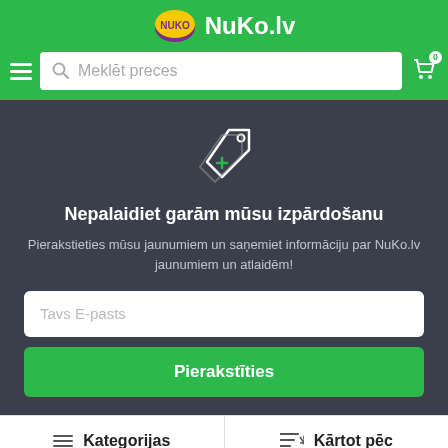NuKo.lv
Meklēt preces
[Figure (illustration): Price tag / discount icon in white outline on dark background]
Nepalaidiet garām mūsu izpārdošanu
Pierakstieties mūsu jaunumiem un saņemiet informāciju par NuKo.lv jaunumiem un atlaidēm!
Tavs E-pasts
Pierakstīties
Kategorijas
Kārtot pēc